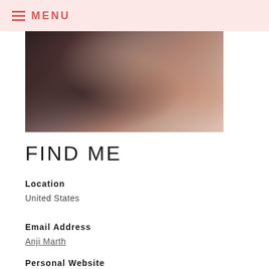MENU
[Figure (photo): Close-up photo of a person with tattoos on their neck, lying down, with dark hair and dramatic makeup]
FIND ME
Location
United States
Email Address
Anji Marth
Personal Website